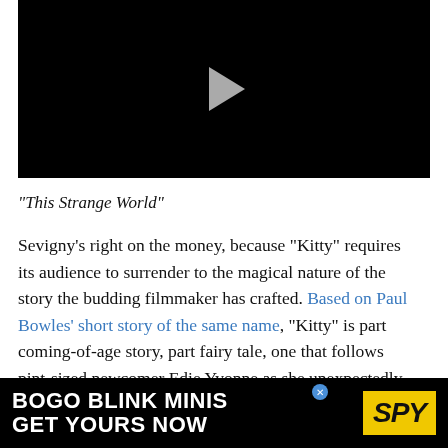[Figure (screenshot): Black video player with a white/grey play button triangle in the center]
“This Strange World”
Sevigny’s right on the money, because “Kitty” requires its audience to surrender to the magical nature of the story the budding filmmaker has crafted. Based on Paul Bowles’ short story of the same name, “Kitty” is part coming-of-age story, part fairy tale, one that follows pint-sized newcomer Edie Yvonne as she unexpectedly evolves from a curious little girl to a more suitable kitten and to the beginning of
[Figure (screenshot): Advertisement banner: BOGO BLINK MINIS / GET YOURS NOW with SPY logo in yellow]